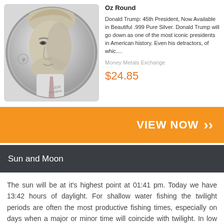[Figure (photo): Silver coin featuring Donald Trump portrait labeled '45th President']
Oz Round
Donald Trump: 45th President, Now Available in Beautiful .999 Pure Silver. Donald Trump will go down as one of the most iconic presidents in American history. Even his detractors, of whic....
Money Metals Exchange
$24.85
VIEW NOW
Sun and Moon
The sun will be at it's highest point at 01:41 pm. Today we have 13:42 hours of daylight. For shallow water fishing the twilight periods are often the most productive fishing times, especially on days when a major or minor time will coincide with twilight. In low light conditions predators have better cover for their ambush and often hunt in shallow water.